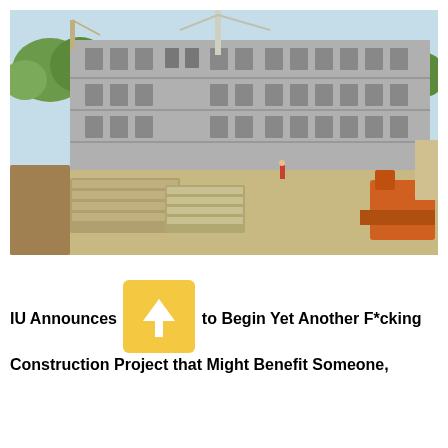[Figure (photo): Construction site photograph showing a large multi-story concrete building under construction with a crane visible at center top, stacks of precast concrete components in the foreground, dirt ground, green trees in background and orange construction equipment at right.]
IU Announces Plans to Begin Yet Another Fucking Construction Project that Might Benefit Someone,